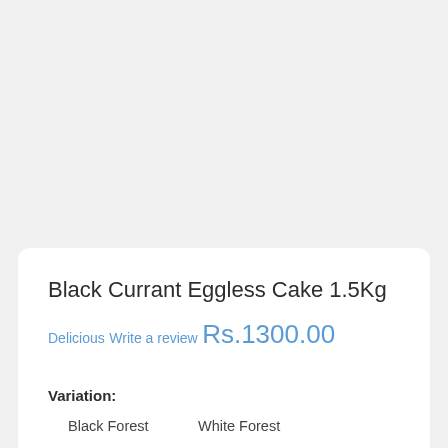Black Currant Eggless Cake 1.5Kg
Delicious
Write a review
Rs.1300.00
Variation:
Black Forest
White Forest